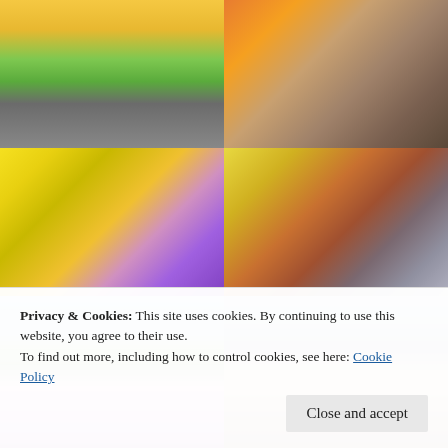[Figure (photo): Top-left photo: A colorful mural on a wall beside a road with grassy area, yellow and green colors visible]
[Figure (photo): Top-right photo: A person sitting and working on a mural, wearing a dark shirt and cap, orange and tan colors around]
[Figure (photo): Middle-left photo: A large yellow and colorful mural with 'Im Late!' text, a white rabbit character, mushrooms, with an artist sitting below]
[Figure (photo): Middle-right photo: A colorful mural on a wall near a building with pink bunny and sun/monster characters, zigzag patterns]
[Figure (photo): Bottom-left photo: A mural with colorful swirling organic shapes in black, pink, blue on a wall with sky and trees above]
[Figure (photo): Bottom-right photo: A black and white mural with standing human figures amid floral patterns on a wall with construction cranes visible]
Privacy & Cookies: This site uses cookies. By continuing to use this website, you agree to their use.
To find out more, including how to control cookies, see here: Cookie Policy
Close and accept